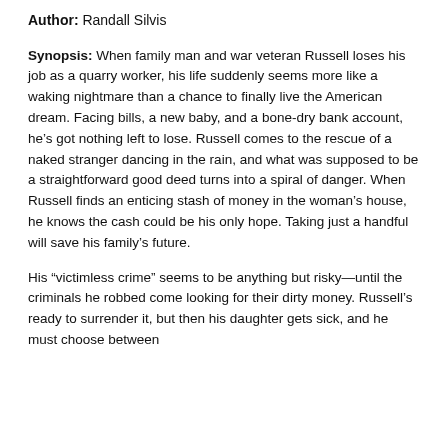Author: Randall Silvis
Synopsis: When family man and war veteran Russell loses his job as a quarry worker, his life suddenly seems more like a waking nightmare than a chance to finally live the American dream. Facing bills, a new baby, and a bone-dry bank account, he's got nothing left to lose. Russell comes to the rescue of a naked stranger dancing in the rain, and what was supposed to be a straightforward good deed turns into a spiral of danger. When Russell finds an enticing stash of money in the woman's house, he knows the cash could be his only hope. Taking just a handful will save his family's future.
His “victimless crime” seems to be anything but risky—until the criminals he robbed come looking for their dirty money. Russell’s ready to surrender it, but then his daughter gets sick, and he must choose between